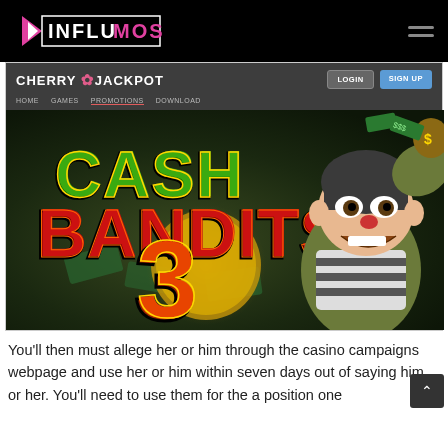INFLUMOS
[Figure (screenshot): Screenshot of Cherry Jackpot casino website showing Cash Bandits 3 slot game banner with a cartoon burglar character holding a bag of money]
You'll then must allege her or him through the casino campaigns webpage and use her or him within seven days out of saying him or her. You'll need to use them for the a position one